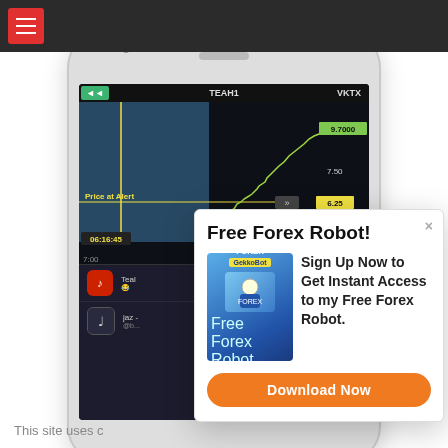[Figure (screenshot): Dark navigation bar with red hamburger menu button at top left]
[Figure (screenshot): Smartphone showing a stock/forex chart app with TEAH1 and VKTX tickers, price at alert label, timestamp 06:16:45, prices 9.7000, 7.50, 6.25]
Free Forex Robot!
[Figure (illustration): Blue box product image labeled FOREX GekoBot]
Sign Up Now to Get Instant Access to my Free Forex Robot.
Download Now
This site uses c